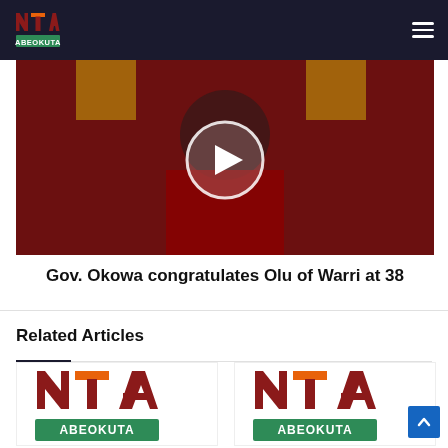NTA ABEOKUTA
[Figure (photo): A man in traditional royal regalia with red outfit and beaded necklaces, seated on a golden throne. A play button overlay is visible in the center.]
Gov. Okowa congratulates Olu of Warri at 38
Related Articles
[Figure (logo): NTA ABEOKUTA logo - left thumbnail]
[Figure (logo): NTA ABEOKUTA logo - right thumbnail]